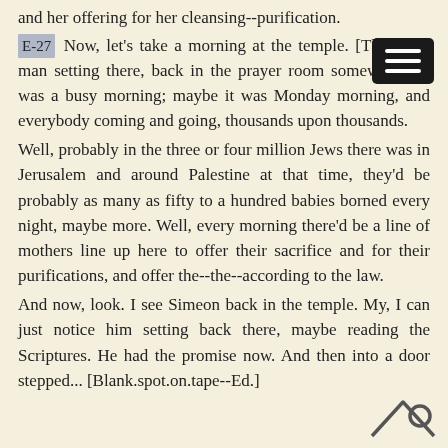and her offering for her cleansing--purification.
E-27 Now, let's take a morning at the temple. [There's a] man setting there, back in the prayer room somewhere. It was a busy morning; maybe it was Monday morning, and everybody coming and going, thousands upon thousands.
Well, probably in the three or four million Jews there was in Jerusalem and around Palestine at that time, they'd be probably as many as fifty to a hundred babies borned every night, maybe more. Well, every morning there'd be a line of mothers line up here to offer their sacrifice and for their purifications, and offer the--the--according to the law.
And now, look. I see Simeon back in the temple. My, I can just notice him setting back there, maybe reading the Scriptures. He had the promise now. And then into a door stepped... [Blank.spot.on.tape--Ed.]